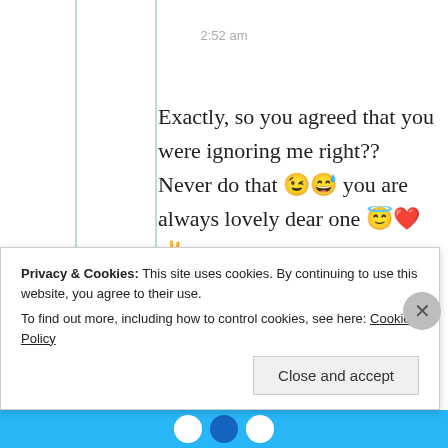2:52 am
Exactly, so you agreed that you were ignoring me right?? Never do that 😉😅 you are always lovely dear one 😇❤️✌️
★ Liked by 1 person
Privacy & Cookies: This site uses cookies. By continuing to use this website, you agree to their use.
To find out more, including how to control cookies, see here: Cookie Policy
Close and accept